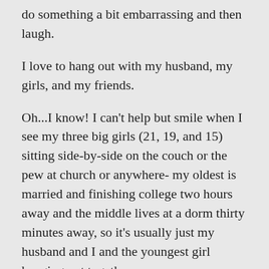do something a bit embarrassing and then laugh.
I love to hang out with my husband, my girls, and my friends.
Oh...I know! I can't help but smile when I see my three big girls (21, 19, and 15) sitting side-by-side on the couch or the pew at church or anywhere- my oldest is married and finishing college two hours away and the middle lives at a dorm thirty minutes away, so it's usually just my husband and I and the youngest girl hanging out together.
I love when God does something and then shows me. For example, one time I sent a card to a church friend. I just kept feeling the Spirit's pressure to send her a note about how much I loved her. Well, I mailed that letter and come to find out she received it on her